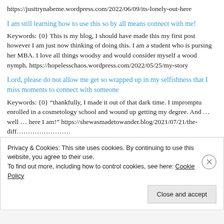https://justtrynabeme.wordpress.com/2022/06/09/its-lonely-out-here
I am still learning how to use this so by all means connect with me!
Keywords: {0} This is my blog, I should have made this my first post however I am just now thinking of doing this. I am a student who is pursing her MBA. I love all things woodsy and would consider myself a wood nymph. https://hopelesschaos.wordpress.com/2022/05/25/my-story
Lord, please do not allow me get so wrapped up in my selfishness that I miss moments to connect with someone
Keywords: {0} “thankfully, I made it out of that dark time. I impromptu enrolled in a cosmetology school and wound up getting my degree. And … well … here I am!” https://shewasmadetowander.blog/2021/07/21/the-diff...
Privacy & Cookies: This site uses cookies. By continuing to use this website, you agree to their use.
To find out more, including how to control cookies, see here: Cookie Policy
Close and accept